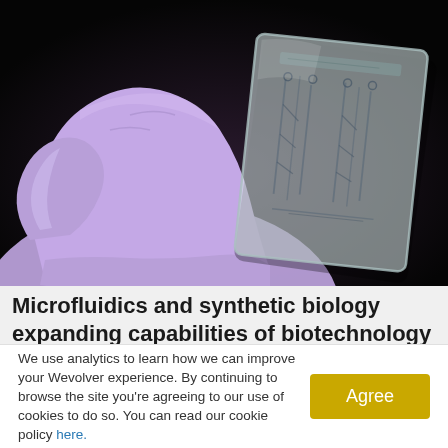[Figure (photo): A gloved hand (purple/lavender nitrile glove) holding a transparent microfluidic chip/device against a dark black background. The chip is rectangular with visible channel patterns etched into it.]
Microfluidics and synthetic biology expanding capabilities of biotechnology
We use analytics to learn how we can improve your Wevolver experience. By continuing to browse the site you're agreeing to our use of cookies to do so. You can read our cookie policy here.